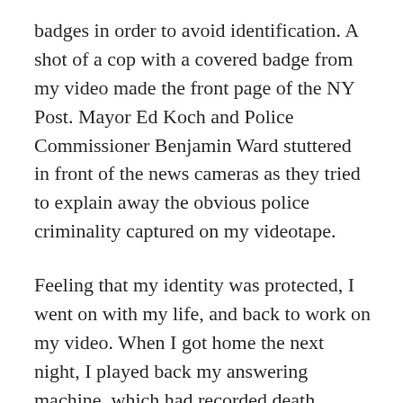badges in order to avoid identification. A shot of a cop with a covered badge from my video made the front page of the NY Post. Mayor Ed Koch and Police Commissioner Benjamin Ward stuttered in front of the news cameras as they tried to explain away the obvious police criminality captured on my videotape.
Feeling that my identity was protected, I went on with my life, and back to work on my video. When I got home the next night, I played back my answering machine, which had recorded death threats, apparently left by police. I called the mayor's office at 3am to report the death threats, but the cop that answered the phone--a sergeant--refused to get a message to Mayor Koch. Not knowing who else to call, knowing that it